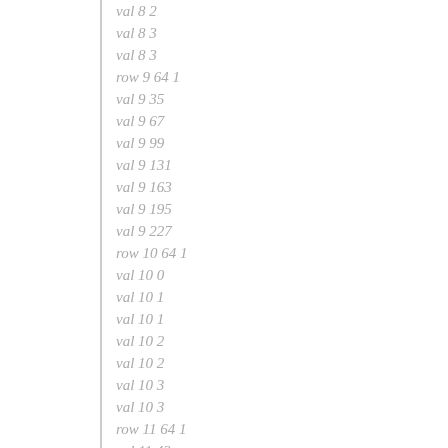val 8 2
val 8 3
val 8 3
row 9 64 1
val 9 35
val 9 67
val 9 99
val 9 131
val 9 163
val 9 195
val 9 227
row 10 64 1
val 10 0
val 10 1
val 10 1
val 10 2
val 10 2
val 10 3
val 10 3
row 11 64 1
val 11 43
val 11 75
val 11 107